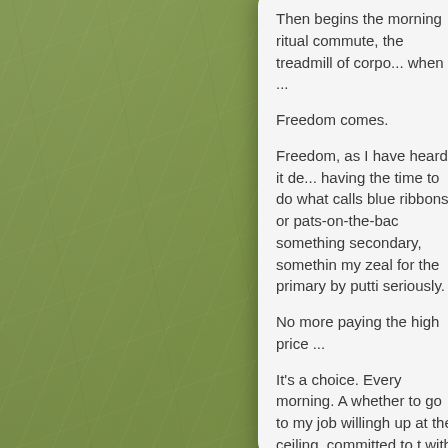Then begins the morning ritual commute, the treadmill of corporate when ...
Freedom comes.
Freedom, as I have heard it defined, is having the time to do what calls to you — no blue ribbons or pats-on-the-back needed — something secondary, something that tests my zeal for the primary by putting it seriously.
No more paying the high price ...
It's a choice. Every morning. A choice whether to go to my job willingly, staring up at the ceiling, committed to the day with my words. My respect for w... each day express that inner part of m...
As I roll out of bed and put my f... time will come; yes it will.